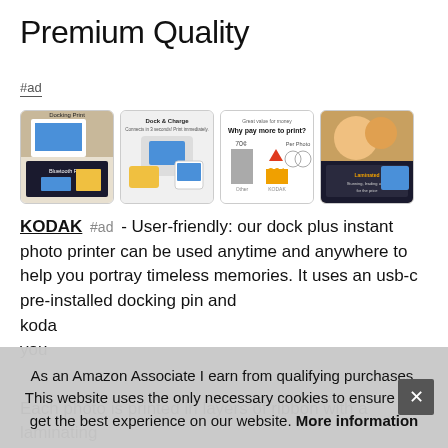Premium Quality
#ad
[Figure (photo): Four product images showing KODAK dock plus instant photo printer: Docking Print / Bluetooth Print, Dock & Charge, Why pay more to print? (price comparison chart 70¢ vs 30¢), and laminated photo quality image.]
KODAK #ad - User-friendly: our dock plus instant photo printer can be used anytime and anywhere to help you portray timeless memories. It uses an usb-c pre-installed docking pin and koda you
As an Amazon Associate I earn from qualifying purchases. This website uses the only necessary cookies to ensure you get the best experience on our website. More information
Each photo is printed in layers of ribbon with a laminating